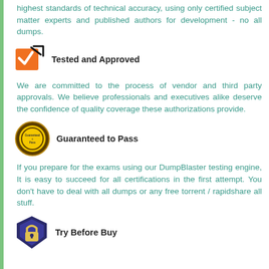highest standards of technical accuracy, using only certified subject matter experts and published authors for development - no all dumps.
[Figure (illustration): Orange checkbox with black checkmark icon labeled 'Tested and Approved']
We are committed to the process of vendor and third party approvals. We believe professionals and executives alike deserve the confidence of quality coverage these authorizations provide.
[Figure (illustration): Gold/yellow circular seal badge labeled 'Guaranteed to Pass']
If you prepare for the exams using our DumpBlaster testing engine, It is easy to succeed for all certifications in the first attempt. You don't have to deal with all dumps or any free torrent / rapidshare all stuff.
[Figure (illustration): Dark blue shield with padlock icon labeled 'Try Before Buy']